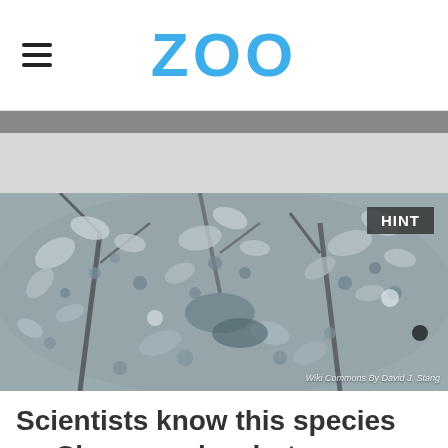ZOO
[Figure (photo): Close-up black and white photograph of Chaenomeles (flowering quince) plant with small leaves and branches. A 'HINT' badge appears in the upper right corner. Photo credit: Wiki Commons By David J. Stang]
Scientists know this species as Chaenomeles, but can you identify this